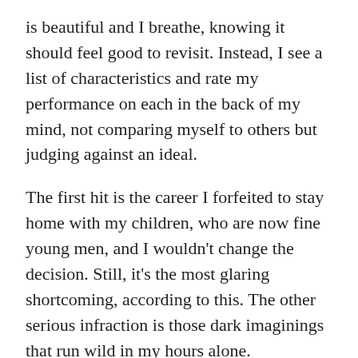is beautiful and I breathe, knowing it should feel good to revisit. Instead, I see a list of characteristics and rate my performance on each in the back of my mind, not comparing myself to others but judging against an ideal.
The first hit is the career I forfeited to stay home with my children, who are now fine young men, and I wouldn't change the decision. Still, it's the most glaring shortcoming, according to this. The other serious infraction is those dark imaginings that run wild in my hours alone.
A perfect example of how my insecurities play out is as follows:
When I started this blog, I had zero experience, I